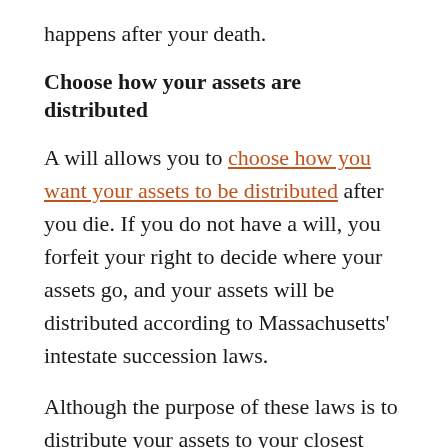happens after your death.
Choose how your assets are distributed
A will allows you to choose how you want your assets to be distributed after you die. If you do not have a will, you forfeit your right to decide where your assets go, and your assets will be distributed according to Massachusetts' intestate succession laws.
Although the purpose of these laws is to distribute your assets to your closest living relative, intestate succession is a one-size-fits-all solution that may not be the most appropriate for your situation. For example, if you have a